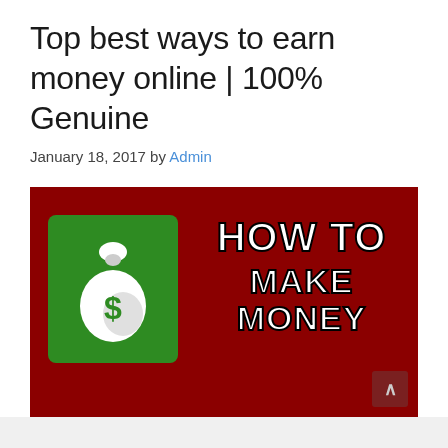Top best ways to earn money online | 100% Genuine
January 18, 2017 by Admin
[Figure (illustration): Dark red banner image with a green square containing a white money bag icon with a dollar sign, and bold white text reading 'HOW TO MAKE MONEY' with black outline strokes. A small dark scroll-to-top button is in the bottom right corner.]